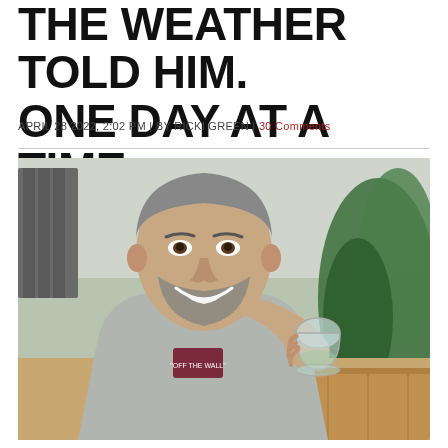THE WEATHER TOLD HIM. ONE DAY AT A TIME.
APRIL 28 2022, 2:02 PM | BY RICKI GREEN | 30 Comments
[Figure (photo): A smiling middle-aged man with salt-and-pepper hair and a beard, wearing a grey t-shirt with a Vans logo, holding a stemless wine glass, seated outdoors at a wooden table with green plants and a wooden fence in the background.]